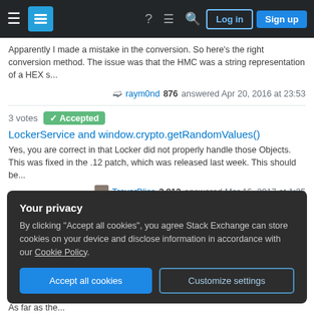Stack Exchange navigation bar with Log in and Sign up buttons
Apparently I made a mistake in the conversion. So here's the right conversion method. The issue was that the HMC was a string representation of a HEX s...
raym0nd 876 answered Apr 20, 2016 at 23:53
3 votes  Accepted
LockerService and window.crypto.getRandomValues()
Yes, you are correct in that Locker did not properly handle those Objects. This was fixed in the .12 patch, which was released last week. This should be...
TrevorBliss 3,813 answered Mar 16, 2017 at 1:25
3 votes  Accepted
Your privacy
By clicking "Accept all cookies", you agree Stack Exchange can store cookies on your device and disclose information in accordance with our Cookie Policy.
Accept all cookies
Customize settings
JWT verify signature
As far as the...